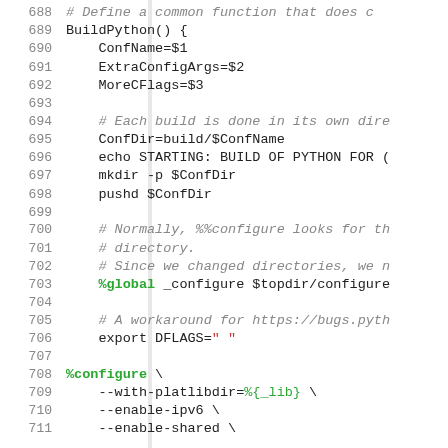Code listing lines 688-711, shell script / RPM spec file showing BuildPython function and %configure macro
688  # Define a common function that does c
689  BuildPython() {
690      ConfName=$1
691      ExtraConfigArgs=$2
692      MoreCFlags=$3
693
694      # Each build is done in its own dire
695      ConfDir=build/$ConfName
696      echo STARTING: BUILD OF PYTHON FOR (
697      mkdir -p $ConfDir
698      pushd $ConfDir
699
700      # Normally, %%configure looks for th
701      # directory.
702      # Since we changed directories, we n
703      %global _configure $topdir/configure
704
705      # A workaround for https://bugs.pyth
706      export DFLAGS=" "
707
708  %configure \
709      --with-platlibdir=%{_lib} \
710      --enable-ipv6 \
711      --enable-shared \